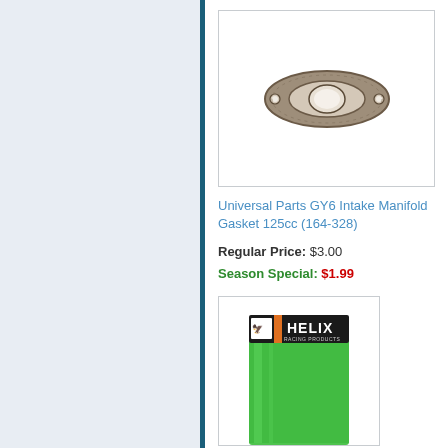[Figure (photo): Product photo of a metal intake manifold gasket (flat, oval-shaped with a central hole and two bolt holes), displayed on white background inside a bordered box.]
Universal Parts GY6 Intake Manifold Gasket 125cc (164-328)
Regular Price: $3.00
Season Special: $1.99
[Figure (photo): Product photo showing a green Helix Racing Products packaged item (appears to be a hose or gasket roll in bright green), with a black and orange Helix brand label at the top.]